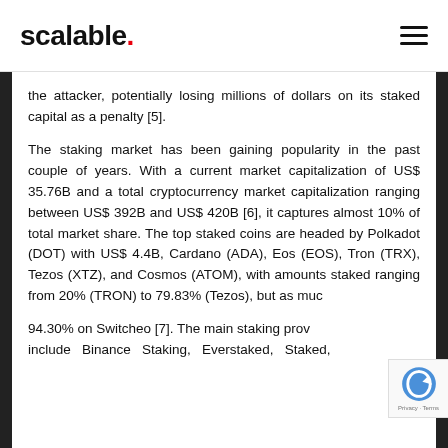scalable.
the attacker, potentially losing millions of dollars on its staked capital as a penalty [5].
The staking market has been gaining popularity in the past couple of years. With a current market capitalization of US$ 35.76B and a total cryptocurrency market capitalization ranging between US$ 392B and US$ 420B [6], it captures almost 10% of total market share. The top staked coins are headed by Polkadot (DOT) with US$ 4.4B, Cardano (ADA), Eos (EOS), Tron (TRX), Tezos (XTZ), and Cosmos (ATOM), with amounts staked ranging from 20% (TRON) to 79.83% (Tezos), but as much as 94.30% on Switcheo [7]. The main staking providers include Binance Staking, Everstaked, Staked,